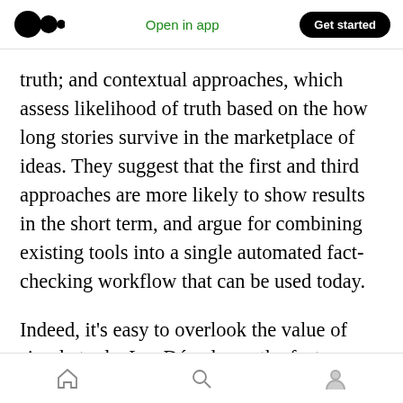Open in app | Get started
truth; and contextual approaches, which assess likelihood of truth based on the how long stories survive in the marketplace of ideas. They suggest that the first and third approaches are more likely to show results in the short term, and argue for combining existing tools into a single automated fact-checking workflow that can be used today.
Indeed, it's easy to overlook the value of simple tools: Les Décodeurs, the fact-checking unit at Le Monde, has built an easy-to-use search interface
Home | Search | Profile